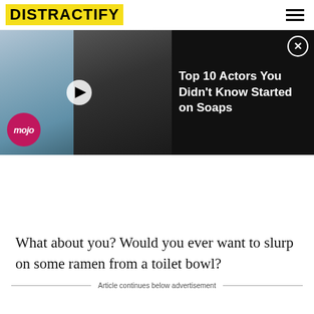DISTRACTIFY
[Figure (screenshot): Video ad thumbnail showing two male actors side by side with a play button overlay and mojo logo, with title text 'Top 10 Actors You Didn't Know Started on Soaps' and a close button]
What about you? Would you ever want to slurp on some ramen from a toilet bowl?
Article continues below advertisement